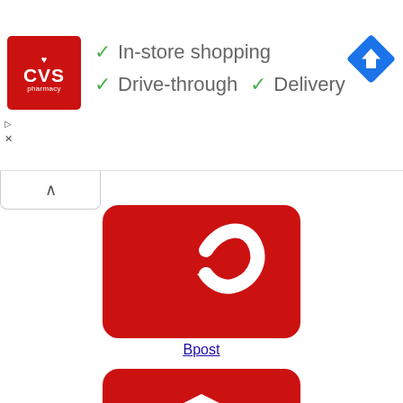[Figure (screenshot): CVS Pharmacy advertisement banner showing checkmarks for In-store shopping, Drive-through, and Delivery services with a Google Maps navigation diamond icon]
[Figure (logo): Bpost logo - red rounded square with white swoosh/arrow icon]
Bpost
[Figure (logo): Chronopost Portugal logo - red rounded square with white 3D box/package icon]
Chronopost Portugal
[Figure (logo): PTT logo - yellow rounded square with blue and red PTT lettering and stylized bird/lightning bolt icon]